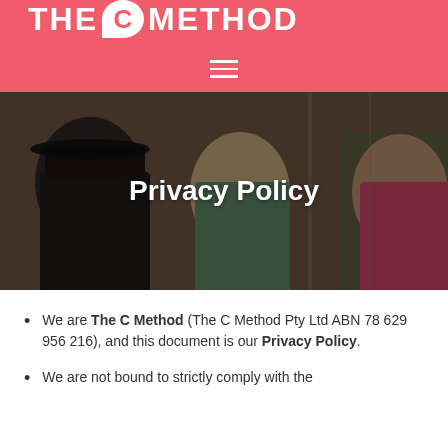THE C METHOD
[Figure (photo): Three people in a meeting room, partially in shadow; a man in a black cap, a woman in green, and a woman in pink/magenta smiling.]
Privacy Policy
We are The C Method (The C Method Pty Ltd ABN 78 629 956 216), and this document is our Privacy Policy.
We are not bound to strictly comply with the